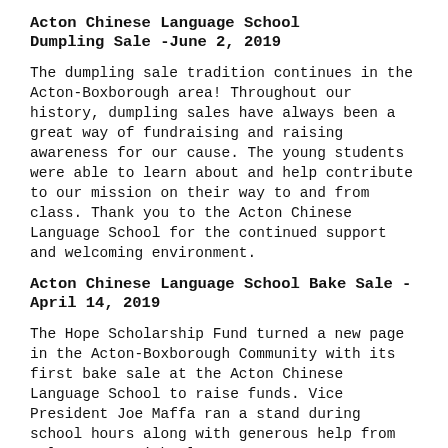Acton Chinese Language School Dumpling Sale -June 2, 2019
The dumpling sale tradition continues in the Acton-Boxborough area! Throughout our history, dumpling sales have always been a great way of fundraising and raising awareness for our cause. The young students were able to learn about and help contribute to our mission on their way to and from class. Thank you to the Acton Chinese Language School for the continued support and welcoming environment.
Acton Chinese Language School Bake Sale -April 14, 2019
The Hope Scholarship Fund turned a new page in the Acton-Boxborough Community with its first bake sale at the Acton Chinese Language School to raise funds. Vice President Joe Maffa ran a stand during school hours along with generous help from volunteers, Michael